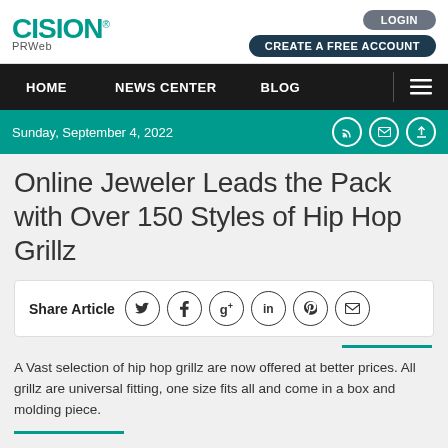CISION PRWeb
[Figure (logo): Cision PRWeb logo with teal CISION text and PRWeb subtitle]
LOGIN
CREATE A FREE ACCOUNT
HOME | NEWS CENTER | BLOG
Sunday, September 4, 2022
Online Jeweler Leads the Pack with Over 150 Styles of Hip Hop Grillz
Share Article
A Vast selection of hip hop grillz are now offered at better prices. All grillz are universal fitting, one size fits all and come in a box and molding piece.